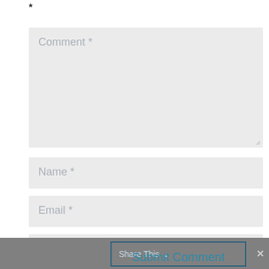*
Comment *
Name *
Email *
Website
Share This
Submit Comment